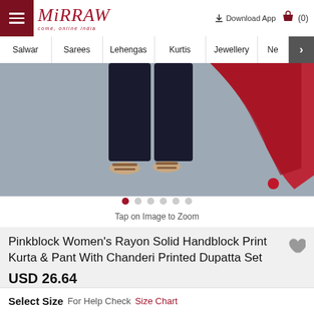Mirraw — come, online india | Download App | Cart (0)
Salwar | Sarees | Lehengas | Kurtis | Jewellery | Ne >
[Figure (photo): Lower half of a model wearing a dark kurta and pant set with red dupatta, showing feet in sandals on a grey background.]
Tap on Image to Zoom
Pinkblock Women's Rayon Solid Handblock Print Kurta & Pant With Chanderi Printed Dupatta Set
USD 26.64
Select Size  For Help Check  Size Chart